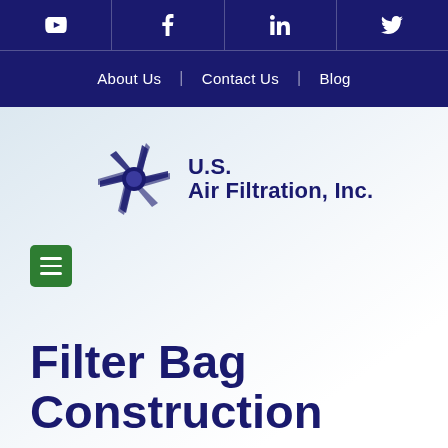[Figure (other): Social media icons row: YouTube, Facebook, LinkedIn, Twitter on dark navy background]
About Us | Contact Us | Blog
[Figure (logo): U.S. Air Filtration, Inc. logo with stylized star/asterisk graphic in dark navy blue]
[Figure (other): Green hamburger menu button with three white horizontal lines]
Filter Bag Construction